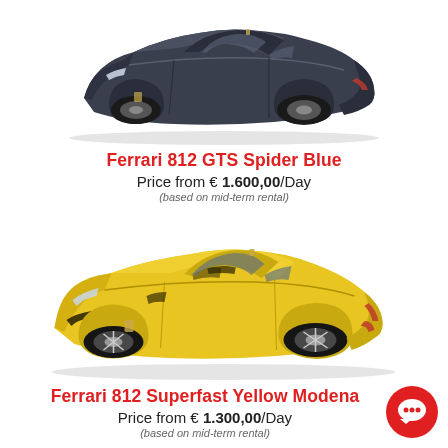[Figure (photo): Ferrari 812 GTS Spider in dark blue/grey color, side-front view on white background]
Ferrari 812 GTS Spider Blue
Price from € 1.600,00/Day
(based on mid-term rental)
[Figure (photo): Ferrari 812 Superfast in yellow (Modena yellow), side-front view on white background]
Ferrari 812 Superfast Yellow Modena
Price from € 1.300,00/Day
(based on mid-term rental)